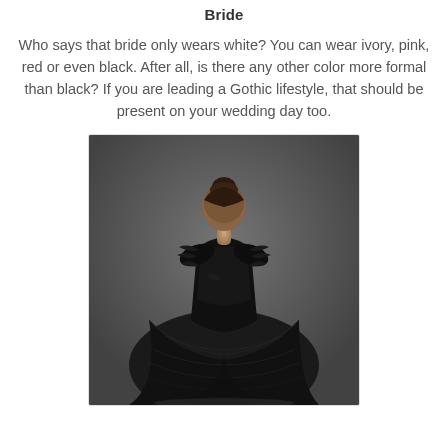Bride
Who says that bride only wears white? You can wear ivory, pink, red or even black. After all, is there any other color more formal than black? If you are leading a Gothic lifestyle, that should be present on your wedding day too.
[Figure (photo): A woman seen from behind wearing a dramatic black ball gown with feathered off-shoulder neckline, hair up, on a dark grey background.]